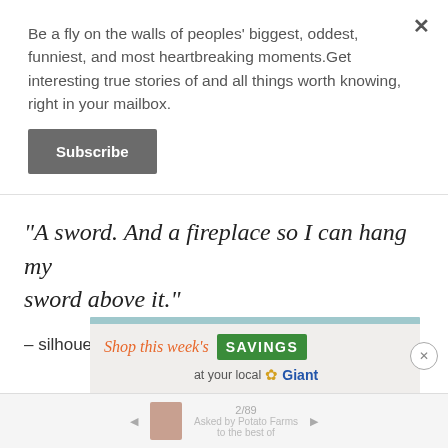Be a fly on the walls of peoples' biggest, oddest, funniest, and most heartbreaking moments.Get interesting true stories of and all things worth knowing, right in your mailbox.
Subscribe
"A sword. And a fireplace so I can hang my sword above it."
– silhouette-of-a-gun
[Figure (screenshot): Advertisement banner: 'Shop this week's SAVINGS at your local Giant' with orange script text, green SAVINGS box, and Giant logo with leaf icon.]